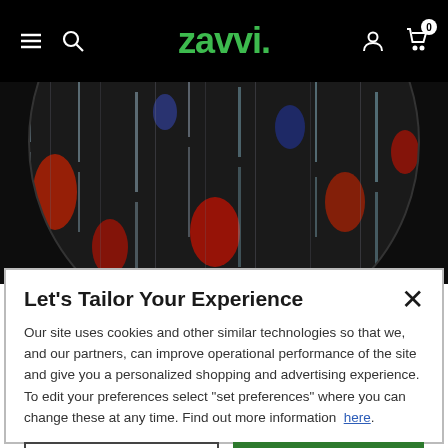Zavvi navigation bar with menu, search, account, and cart icons
[Figure (photo): Circular product image showing Matrix-style falling code/digital rain in red and blue on dark background]
Let's Tailor Your Experience
Our site uses cookies and other similar technologies so that we, and our partners, can improve operational performance of the site and give you a personalized shopping and advertising experience. To edit your preferences select "set preferences" where you can change these at any time. Find out more information here.
Set Preference | That's Ok